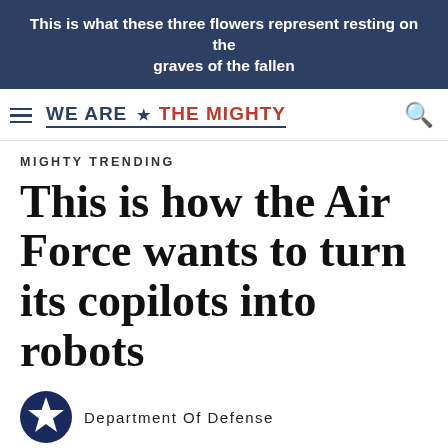This is what these three flowers represent resting on the graves of the fallen
[Figure (logo): We Are The Mighty website logo with hamburger menu and search icon]
MIGHTY TRENDING
This is how the Air Force wants to turn its copilots into robots
Department Of Defense
Posted On March 31, 2018 02:57:23